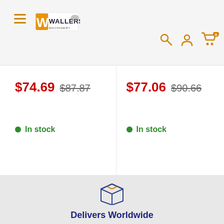[Figure (logo): Wallers logo with stylized text and bird graphic]
[Figure (infographic): Navigation icons: search (magnifying glass), account (person), cart with badge showing 0, all in orange]
$74.69  $87.87
In stock
$77.06  $90.66
In stock
[Figure (illustration): Blue outlined package/box icon]
Delivers Worldwide
We happily ship to all countries. Cost is calculated at checkout